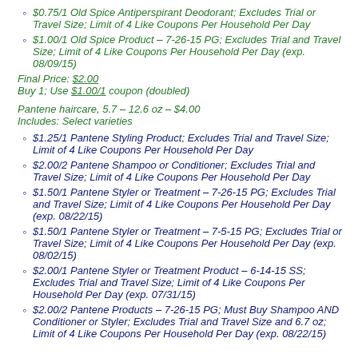$0.75/1 Old Spice Antiperspirant Deodorant; Excludes Trial or Travel Size; Limit of 4 Like Coupons Per Household Per Day
$1.00/1 Old Spice Product – 7-26-15 PG; Excludes Trial and Travel Size; Limit of 4 Like Coupons Per Household Per Day (exp. 08/09/15)
Final Price: $2.00
Buy 1; Use $1.00/1 coupon (doubled)
Pantene haircare, 5.7 – 12.6 oz – $4.00
Includes: Select varieties
$1.25/1 Pantene Styling Product; Excludes Trial and Travel Size; Limit of 4 Like Coupons Per Household Per Day
$2.00/2 Pantene Shampoo or Conditioner; Excludes Trial and Travel Size; Limit of 4 Like Coupons Per Household Per Day
$1.50/1 Pantene Styler or Treatment – 7-26-15 PG; Excludes Trial and Travel Size; Limit of 4 Like Coupons Per Household Per Day (exp. 08/22/15)
$1.50/1 Pantene Styler or Treatment – 7-5-15 PG; Excludes Trial or Travel Size; Limit of 4 Like Coupons Per Household Per Day (exp. 08/02/15)
$2.00/1 Pantene Styler or Treatment Product – 6-14-15 SS; Excludes Trial and Travel Size; Limit of 4 Like Coupons Per Household Per Day (exp. 07/31/15)
$2.00/2 Pantene Products – 7-26-15 PG; Must Buy Shampoo AND Conditioner or Styler; Excludes Trial and Travel Size and 6.7 oz; Limit of 4 Like Coupons Per Household Per Day (exp. 08/22/15)